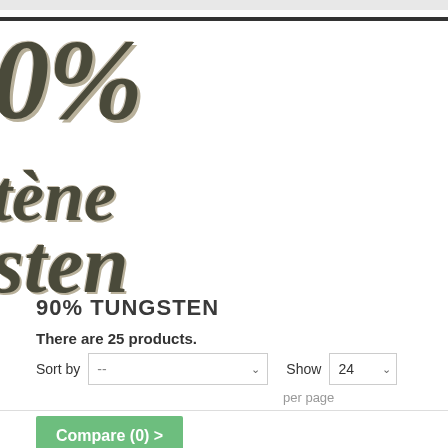[Figure (illustration): Large stylized text showing '%', 'tène', and 'sten' in bold italic serif font with 3D shadow effect, partially cropped on left side]
90% TUNGSTEN
There are 25 products.
Sort by -- Show 24 per page
Compare (0) >